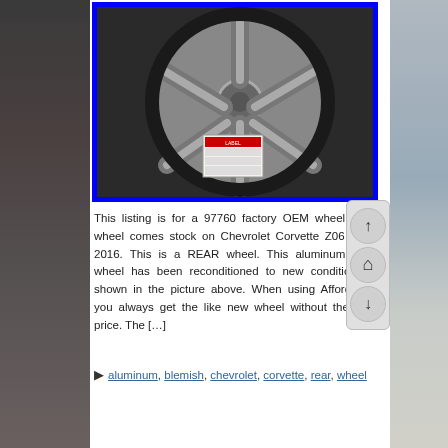[Figure (photo): Close-up photograph of a Chevrolet Corvette Z06 factory OEM aluminum alloy rear wheel, silver/chrome finish, shown with a sticker label visible in the lower center. Image has a blue border.]
This listing is for a 97760 factory OEM wheel. This wheel comes stock on Chevrolet Corvette Z06 2015 2016. This is a REAR wheel. This aluminum alloy wheel has been reconditioned to new condition as shown in the picture above. When using Affordable, you always get the like new wheel without the new price. The […]
aluminum, blemish, chevrolet, corvette, rear, wheel